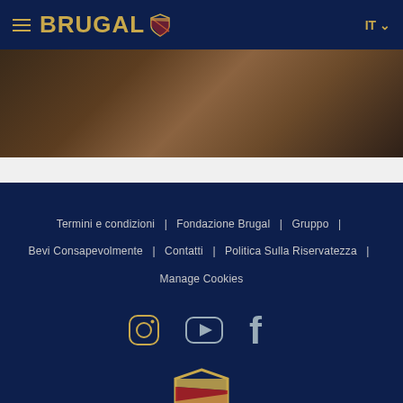BRUGAL IT
[Figure (photo): Dark brown blurred background photo, possibly wooden surface or bar]
Termini e condizioni | Fondazione Brugal | Gruppo | Bevi Consapevolmente | Contatti | Politica Sulla Riservatezza | Manage Cookies
[Figure (illustration): Social media icons: Instagram, YouTube, Facebook in gold/grey outline style]
[Figure (logo): Brugal shield logo with gold border and red and gold diagonal stripe]